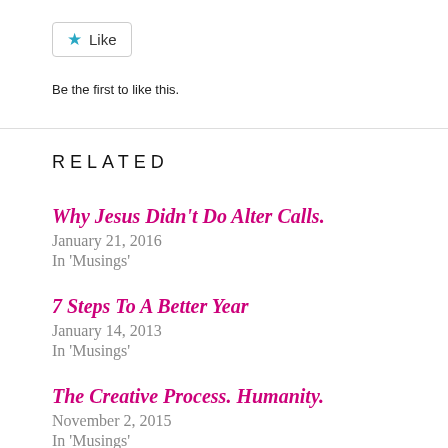[Figure (other): A Like button widget with a blue star icon and the text 'Like']
Be the first to like this.
RELATED
Why Jesus Didn't Do Alter Calls.
January 21, 2016
In 'Musings'
7 Steps To A Better Year
January 14, 2013
In 'Musings'
The Creative Process. Humanity.
November 2, 2015
In 'Musings'